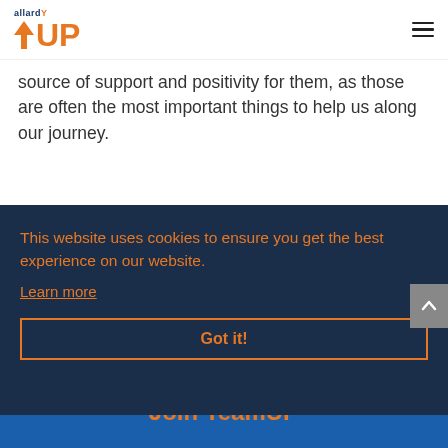allardUP logo and hamburger menu
source of support and positivity for them, as those are often the most important things to help us along our journey.
Learn More About Todd
This website uses cookies to ensure you get the best experience on our website. Learn more
Join TeamUP